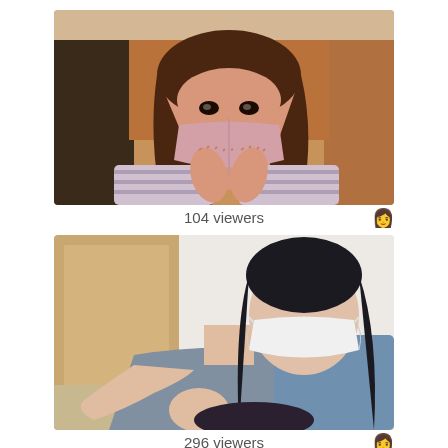[Figure (photo): Screenshot of a live stream showing a young woman with long brown hair wearing a pink face mask and a striped short-sleeve shirt, with hands pressed together in a praying gesture, seated in what appears to be a booth with an orange/brown leather seat and patterned wallpaper in background.]
104 viewers
[Figure (photo): Screenshot of a live stream showing a young woman with long black hair wearing a white surgical face mask and a blue/gray textured top, seated on the floor against a white wall with wooden paneling, appearing to gesture with her hand.]
296 viewers